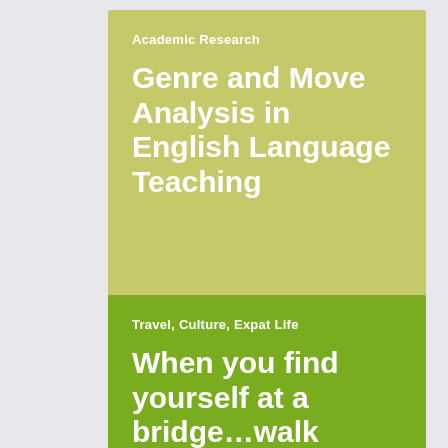Academic Research
Genre and Move Analysis in English Language Teaching
Travel, Culture, Expat Life
When you find yourself at a bridge…walk across!